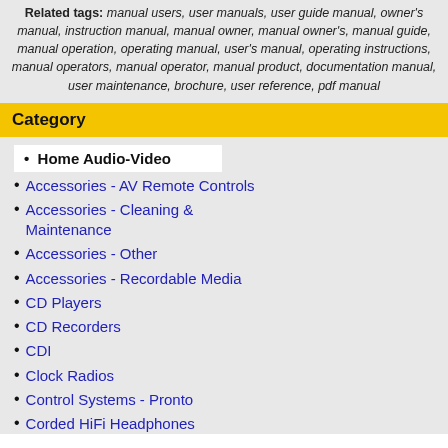Related tags: manual users, user manuals, user guide manual, owner's manual, instruction manual, manual owner, manual owner's, manual guide, manual operation, operating manual, user's manual, operating instructions, manual operators, manual operator, manual product, documentation manual, user maintenance, brochure, user reference, pdf manual
Category
Home Audio-Video
Accessories - AV Remote Controls
Accessories - Cleaning & Maintenance
Accessories - Other
Accessories - Recordable Media
CD Players
CD Recorders
CDI
Clock Radios
Control Systems - Pronto
Corded HiFi Headphones